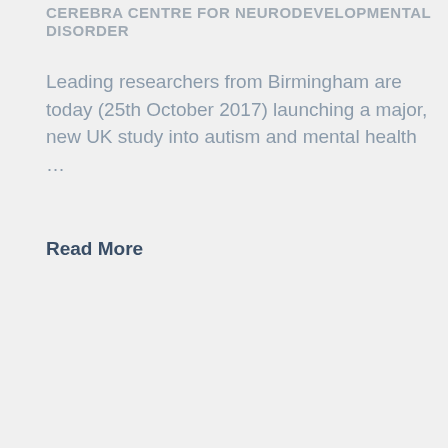CEREBRA CENTRE FOR NEURODEVELOPMENTAL DISORDER
Leading researchers from Birmingham are today (25th October 2017) launching a major, new UK study into autism and mental health …
Read More